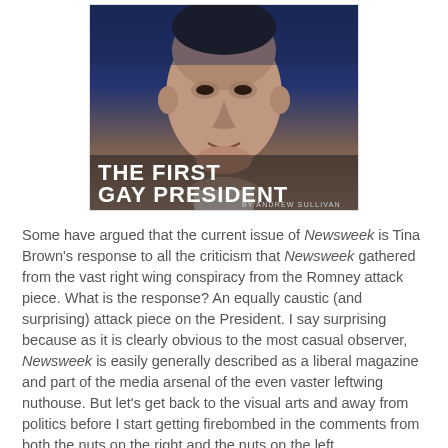[Figure (photo): Newsweek magazine cover showing a close-up photo of Barack Obama looking upward, with bold white text overlay reading 'THE FIRST GAY PRESIDENT' and byline 'BY ANDREW SULLIVAN']
Some have argued that the current issue of Newsweek is Tina Brown's response to all the criticism that Newsweek gathered from the vast right wing conspiracy from the Romney attack piece. What is the response? An equally caustic (and surprising) attack piece on the President. I say surprising because as it is clearly obvious to the most casual observer, Newsweek is easily generally described as a liberal magazine and part of the media arsenal of the even vaster leftwing nuthouse. But let's get back to the visual arts and away from politics before I start getting firebombed in the comments from both the nuts on the right and the nuts on the left.